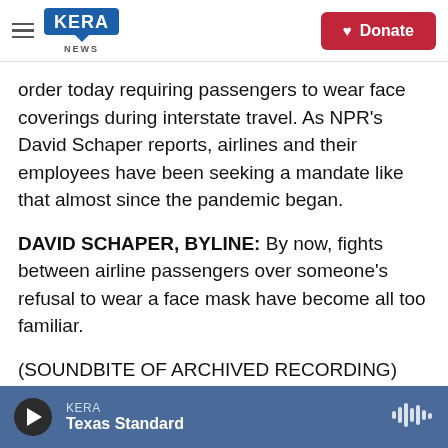KERA NEWS | Donate
order today requiring passengers to wear face coverings during interstate travel. As NPR's David Schaper reports, airlines and their employees have been seeking a mandate like that almost since the pandemic began.
DAVID SCHAPER, BYLINE: By now, fights between airline passengers over someone's refusal to wear a face mask have become all too familiar.
(SOUNDBITE OF ARCHIVED RECORDING)
UNIDENTIFIED PERSON: There you go. Yeah. Yeah.
KERA — Texas Standard